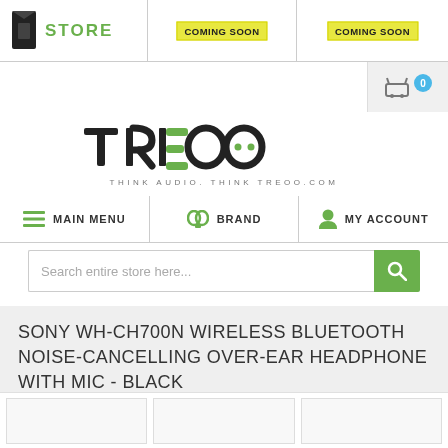[Figure (screenshot): Treoo.com store website navigation header with STORE, MAIN MENU (coming soon), MAINTENANCE (coming soon) tabs, cart icon, TREOO logo, menu bar, search bar, and product title.]
SONY WH-CH700N WIRELESS BLUETOOTH NOISE-CANCELLING OVER-EAR HEADPHONE WITH MIC - BLACK